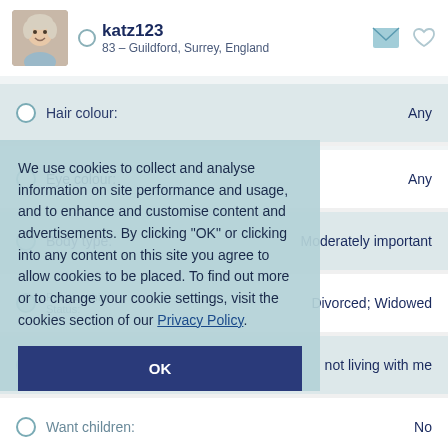katz123 — 83 – Guildford, Surrey, England
Hair colour: Any
Eye colour: Any
Body type: Moderately important
Relationship Status: Divorced; Widowed
Children: not living with me
Want children: No
Daily diet: Any
We use cookies to collect and analyse information on site performance and usage, and to enhance and customise content and advertisements. By clicking "OK" or clicking into any content on this site you agree to allow cookies to be placed. To find out more or to change your cookie settings, visit the cookies section of our Privacy Policy.